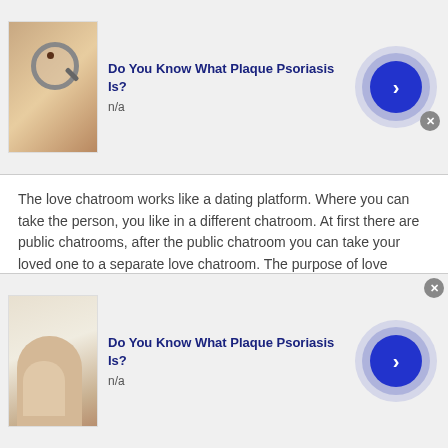[Figure (screenshot): Top advertisement banner: thumbnail image of magnifying glass on skin with mole, headline 'Do You Know What Plaque Psoriasis Is?', 'n/a', blue arrow button on right]
The love chatroom works like a dating platform. Where you can take the person, you like in a different chatroom. At first there are public chatrooms, after the public chatroom you can take your loved one to a separate love chatroom. The purpose of love chatrooms is to bring hearts together. Further, this chatroom is very much helpful to the people who are either introverted by nature or feel shy to talk to another gender.
[Figure (screenshot): Bottom advertisement banner: thumbnail image of hand/skin, headline 'Do You Know What Plaque Psoriasis Is?', 'n/a', blue arrow button on right]